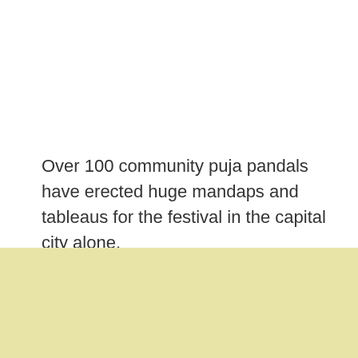Over 100 community puja pandals have erected huge mandaps and tableaus for the festival in the capital city alone.
About Discover Bhubaneswar
We aim to connect with Odias from across the